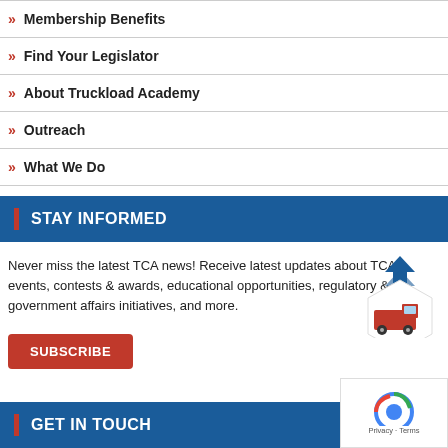» Membership Benefits
» Find Your Legislator
» About Truckload Academy
» Outreach
» What We Do
STAY INFORMED
Never miss the latest TCA news! Receive latest updates about TCA events, contests & awards, educational opportunities, regulatory & government affairs initiatives, and more.
SUBSCRIBE
[Figure (illustration): Upward chevron arrows icon and red truck icon inside a hexagonal badge]
GET IN TOUCH
[Figure (other): Google reCAPTCHA badge with privacy and terms links]